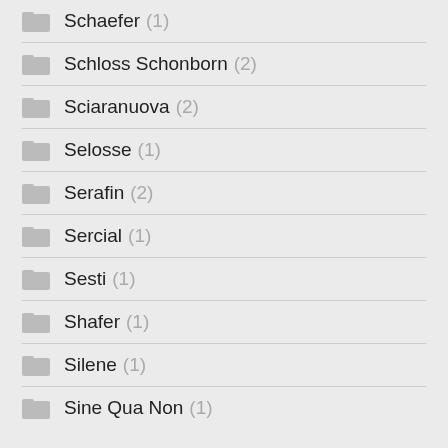Schaefer (1)
Schloss Schonborn (2)
Sciaranuova (2)
Selosse (1)
Serafin (2)
Sercial (1)
Sesti (1)
Shafer (1)
Silene (1)
Sine Qua Non (1)